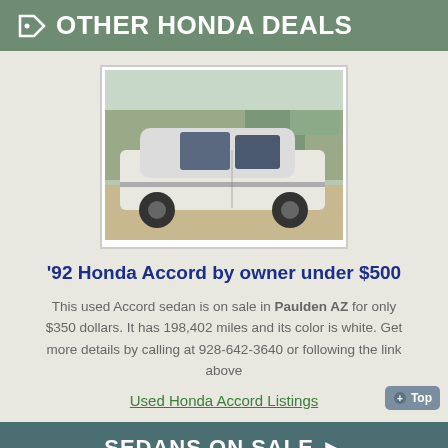OTHER HONDA DEALS
[Figure (photo): Photo of a white 1992 Honda Accord sedan parked outdoors on dirt, side profile view, trees in background]
'92 Honda Accord by owner under $500
This used Accord sedan is on sale in Paulden AZ for only $350 dollars. It has 198,402 miles and its color is white. Get more details by calling at 928-642-3640 or following the link above
Used Honda Accord Listings
SEDANS ON SALE ▶